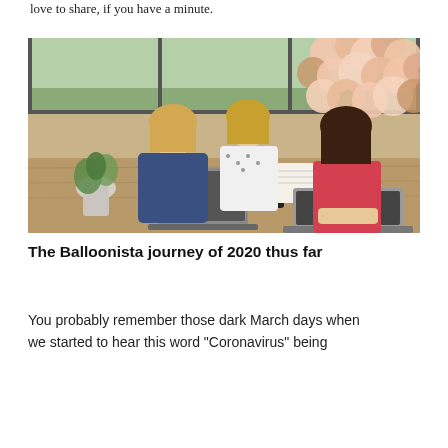love to share, if you have a minute.
[Figure (photo): Three women sitting around a wooden table working on laptops and notepads in a bright glass-walled room decorated with pink and peach balloon garlands and a plant.]
The Balloonista journey of 2020 thus far
You probably remember those dark March days when we started to hear this word "Coronavirus" being